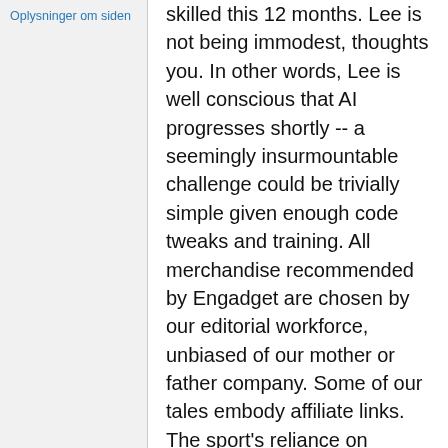Oplysninger om siden
skilled this 12 months. Lee is not being immodest, thoughts you. In other words, Lee is well conscious that AI progresses shortly -- a seemingly insurmountable challenge could be trivially simple given enough code tweaks and training. All merchandise recommended by Engadget are chosen by our editorial workforce, unbiased of our mother or father company. Some of our tales embody affiliate links. The sport's reliance on complexity and intuitive motion makes it much tougher for computers to play than comparatively straightforward games like chess. He reckons that DeepMind is just slightly much less skilled than he is, and he won't be stunned if the technology cleans his clock inside a few years. If you buy one thing via one of those links,